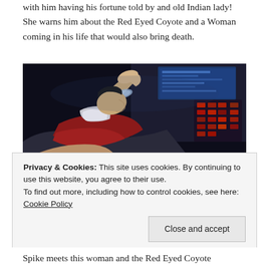with him having his fortune told by and old Indian lady! She warns him about the Red Eyed Coyote and a Woman coming in his life that would also bring death.
[Figure (illustration): Anime screenshot showing a character reclining and looking upward, with a cockpit or control panel visible in the background featuring illuminated screens and red indicators.]
Privacy & Cookies: This site uses cookies. By continuing to use this website, you agree to their use.
To find out more, including how to control cookies, see here: Cookie Policy
Spike meets this woman and the Red Eyed Coyote